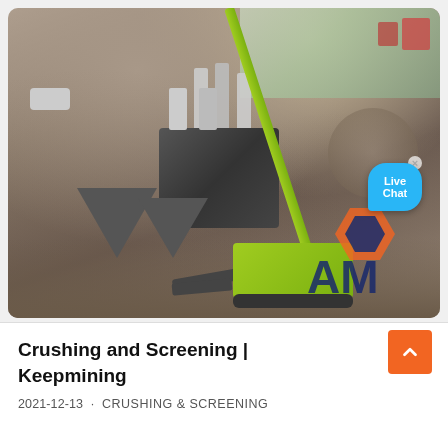[Figure (photo): Aerial drone photo of a mining/quarry site showing crushing and screening machinery, a green crane arm, heavy equipment vehicles, hoppers, and rocky terrain. An 'AM' watermark logo is visible in the bottom right. A Live Chat bubble UI element is visible on the right side.]
Crushing and Screening | Keepmining
2021-12-13 · CRUSHING & SCREENING